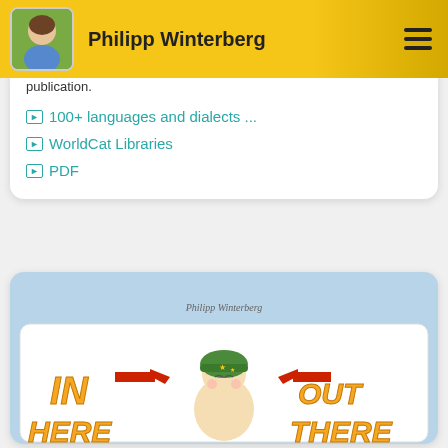Philipp Winterberg
publication.
100+ languages and dialects ...
WorldCat Libraries
PDF
[Figure (illustration): Book cover illustration on light blue background with text 'IN HERE... OUT THERE' and a cartoon child wearing a green helmet, with red arrows. Author text 'Philipp Winterberg' written in cursive at top.]